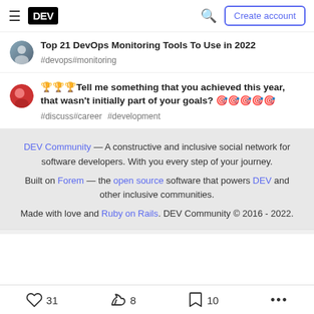DEV — Create account
Top 21 DevOps Monitoring Tools To Use in 2022 #devops #monitoring
🏆🏆🏆Tell me something that you achieved this year, that wasn't initially part of your goals? 🎯🎯🎯🎯🎯 #discuss #career #development
DEV Community — A constructive and inclusive social network for software developers. With you every step of your journey. Built on Forem — the open source software that powers DEV and other inclusive communities. Made with love and Ruby on Rails. DEV Community © 2016 - 2022.
31  8  10  ...